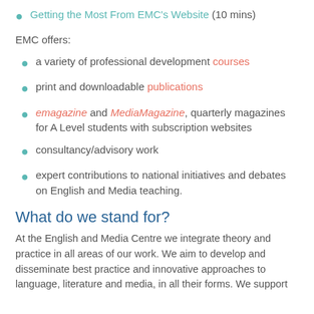Getting the Most From EMC's Website (10 mins)
EMC offers:
a variety of professional development courses
print and downloadable publications
emagazine and MediaMagazine, quarterly magazines for A Level students with subscription websites
consultancy/advisory work
expert contributions to national initiatives and debates on English and Media teaching.
What do we stand for?
At the English and Media Centre we integrate theory and practice in all areas of our work. We aim to develop and disseminate best practice and innovative approaches to language, literature and media, in all their forms. We support